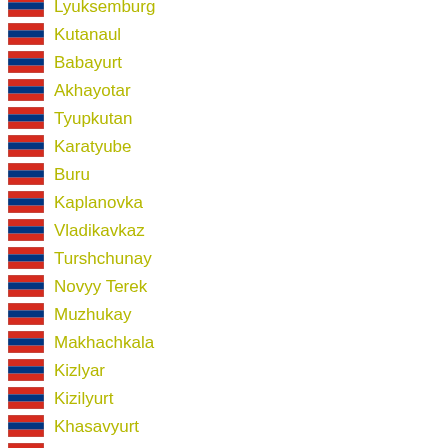Lyuksemburg
Kutanaul
Babayurt
Akhayotar
Tyupkutan
Karatyube
Buru
Kaplanovka
Vladikavkaz
Turshchunay
Novyy Terek
Muzhukay
Makhachkala
Kizlyar
Kizilyurt
Khasavyurt
Khasanay
Grozny
Germenchik